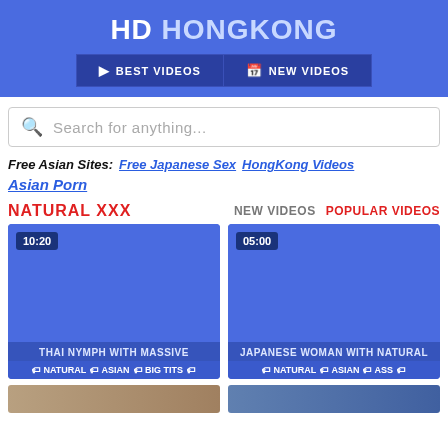HD HONGKONG
BEST VIDEOS | NEW VIDEOS
Search for anything...
Free Asian Sites: Free Japanese Sex  HongKong Videos
Asian Porn
NATURAL XXX  NEW VIDEOS  POPULAR VIDEOS
[Figure (screenshot): Video thumbnail placeholder blue, duration 10:20, title THAI NYMPH WITH MASSIVE, tags NATURAL ASIAN BIG TITS]
[Figure (screenshot): Video thumbnail placeholder blue, duration 05:00, title JAPANESE WOMAN WITH NATURAL, tags NATURAL ASIAN ASS]